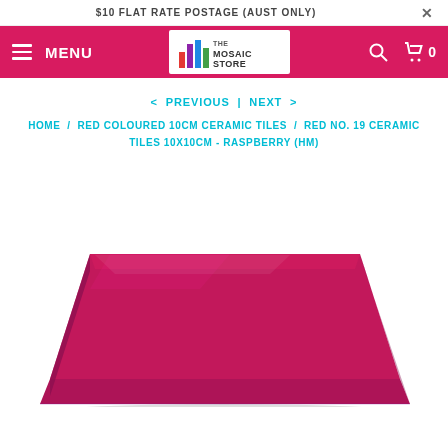$10 FLAT RATE POSTAGE (AUST ONLY)
[Figure (screenshot): Navigation bar with hamburger menu, MENU text, The Mosaic Store logo, search icon, and cart icon showing 0 items. Pink/magenta background.]
< PREVIOUS | NEXT >
HOME / RED COLOURED 10CM CERAMIC TILES / RED NO. 19 CERAMIC TILES 10X10CM - RASPBERRY (HM)
[Figure (photo): A glossy raspberry (dark pink/red) coloured ceramic tile viewed from a slight angle, showing the top face and front edge. The tile is square, approximately 10x10cm, with a shiny glaze finish.]